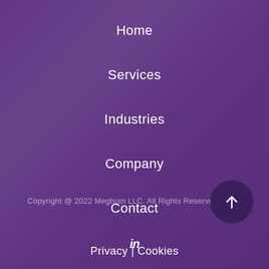Home
Services
Industries
Company
Contact
Privacy | Cookies
Copyright @ 2022 Meghum LLC. All Rights Reserved.
[Figure (logo): LinkedIn icon (in)]
[Figure (other): Back to top button with upward arrow]